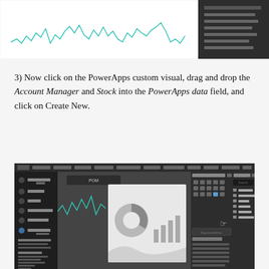[Figure (screenshot): Top portion of a Power BI screenshot showing a line chart with teal/cyan waveform on the left and a dark panel with filter/field options on the right]
3) Now click on the PowerApps custom visual, drag and drop the Account Manager and Stock into the PowerApps data field, and click on Create New.
[Figure (screenshot): Full Power BI interface screenshot showing navigation panel on left, a report canvas in center with pie chart and bar chart visuals, and Visualizations/Fields panes on the right with Stock Snow, Account Man..., close, date, Stock, returns fields listed. Filters panel at bottom right shows various filter options.]